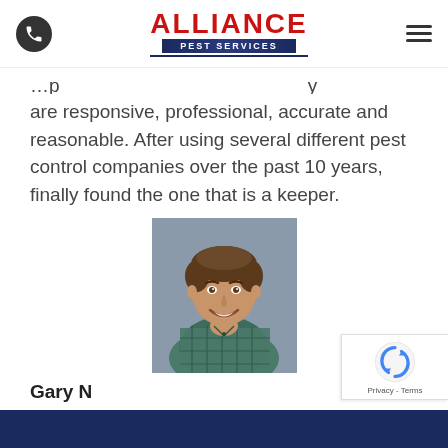Alliance Pest Services
are responsive, professional, accurate and reasonable. After using several different pest control companies over the past 10 years, finally found the one that is a keeper.
[Figure (photo): Smiling young man with brown hair wearing a plaid shirt, photographed against a gray background]
Gary N
READ MORE REVIEWS